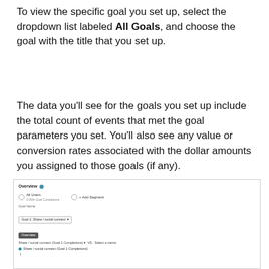To view the specific goal you set up, select the dropdown list labeled All Goals, and choose the goal with the title that you set up.
The data you'll see for the goals you set up include the total count of events that met the goal parameters you set. You'll also see any value or conversion rates associated with the dollar amounts you assigned to those goals (if any).
[Figure (screenshot): Screenshot of a Google Analytics Overview report showing goal tracking data. Includes segment selectors (All Users with 0.09% Goal Completions, + Add Segment), a Goal Name dropdown set to 'Goal 1: Share / social connect', an Overview tab, a line chart for Share / social connect (Goal 1 Completions) showing a flat line near zero, x-axis labels (Jan 14, Jan 15, Jan 16, Jan 17), and bottom metric cells showing Share/social connect Goal 1 Completions: 0, Value: $0.00, Conversion Rate: 0.00%, Abandonment Rate: 0.00%.]